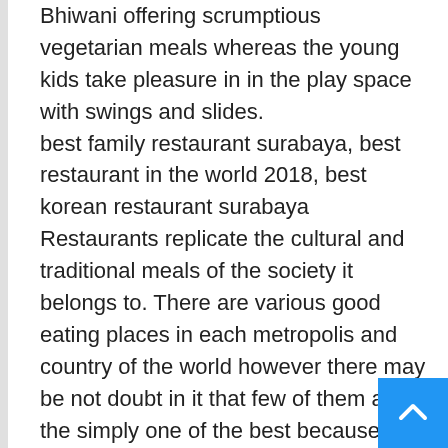Bhiwani offering scrumptious vegetarian meals whereas the young kids take pleasure in in the play space with swings and slides.
best family restaurant surabaya, best restaurant in the world 2018, best korean restaurant surabaya
Restaurants replicate the cultural and traditional meals of the society it belongs to. There are various good eating places in each metropolis and country of the world however there may be not doubt in it that few of them are the simply one of the best because of offering high degree delicacies together with neat and clear atmosphere with mild background music. Victoria Twenty-Two is now thought-about as a excessive commonplace restaurant now with a quite a proper ambiance and complicated dinning. Located in the River North space, the in depth menu includes such signature